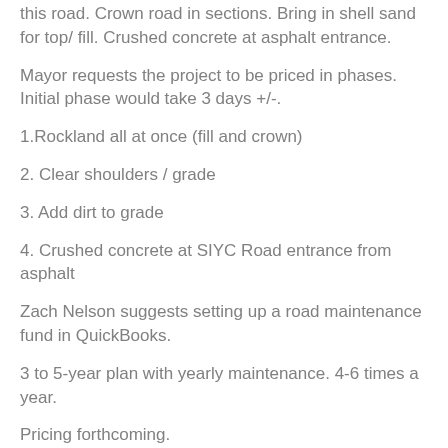this road. Crown road in sections. Bring in shell sand for top/ fill. Crushed concrete at asphalt entrance.
Mayor requests the project to be priced in phases. Initial phase would take 3 days +/-.
1.Rockland all at once (fill and crown)
2.  Clear shoulders / grade
3. Add dirt to grade
4. Crushed concrete at SIYC Road entrance from asphalt
Zach Nelson suggests setting up a road maintenance fund in QuickBooks.
3 to 5-year plan with yearly maintenance. 4-6 times a year.
Pricing forthcoming.